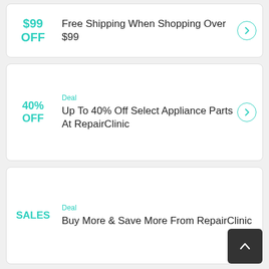$99 OFF — Free Shipping When Shopping Over $99
Deal — 40% OFF — Up To 40% Off Select Appliance Parts At RepairClinic
Deal — SALES — Buy More & Save More From RepairClinic